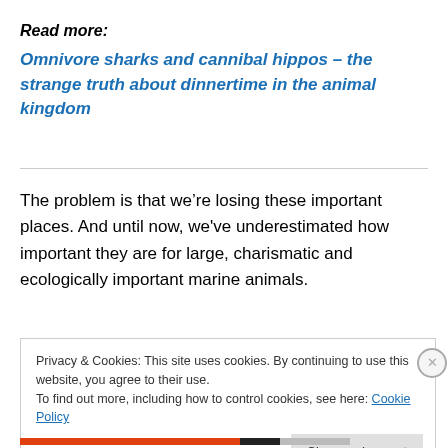Read more:
Omnivore sharks and cannibal hippos – the strange truth about dinnertime in the animal kingdom
The problem is that we're losing these important places. And until now, we've underestimated how important they are for large, charismatic and ecologically important marine animals.
Privacy & Cookies: This site uses cookies. By continuing to use this website, you agree to their use.
To find out more, including how to control cookies, see here: Cookie Policy